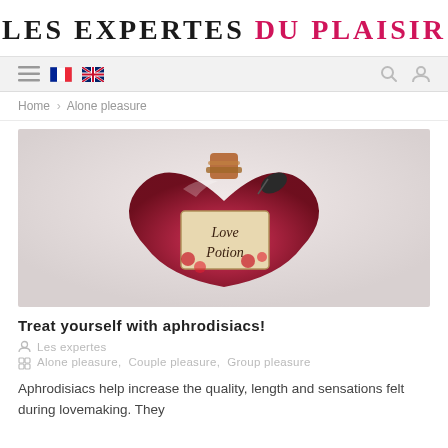LES EXPERTES DU PLAISIR
[Figure (screenshot): Navigation bar with hamburger menu, French flag, UK flag icons on the left, search and user account icons on the right, on a light grey background]
Home > Alone pleasure
[Figure (photo): A heart-shaped bottle labeled 'Love Potion' with a dark red liquid inside, decorated with rope and a dark leaf/charm, on a white background]
Treat yourself with aphrodisiacs!
Les expertes
Alone pleasure, Couple pleasure, Group pleasure
Aphrodisiacs help increase the quality, length and sensations felt during lovemaking. They